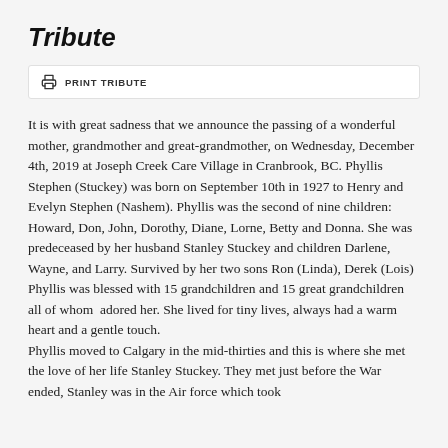Tribute
PRINT TRIBUTE
It is with great sadness that we announce the passing of a wonderful mother, grandmother and great-grandmother, on Wednesday, December 4th, 2019 at Joseph Creek Care Village in Cranbrook, BC. Phyllis Stephen (Stuckey) was born on September 10th in 1927 to Henry and Evelyn Stephen (Nashem). Phyllis was the second of nine children: Howard, Don, John, Dorothy, Diane, Lorne, Betty and Donna. She was predeceased by her husband Stanley Stuckey and children Darlene, Wayne, and Larry. Survived by her two sons Ron (Linda), Derek (Lois)
Phyllis was blessed with 15 grandchildren and 15 great grandchildren all of whom adored her. She lived for tiny lives, always had a warm heart and a gentle touch.
Phyllis moved to Calgary in the mid-thirties and this is where she met the love of her life Stanley Stuckey. They met just before the War ended, Stanley was in the Air force which took